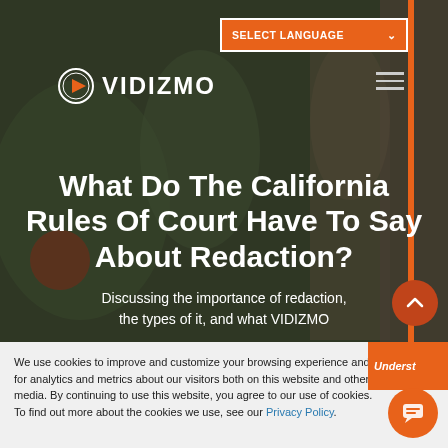[Figure (screenshot): VIDIZMO website hero section with dark overlay background showing blurred indoor scene]
SELECT LANGUAGE
VIDIZMO logo
What Do The California Rules Of Court Have To Say About Redaction?
Discussing the importance of redaction, the types of it, and what VIDIZMO
We use cookies to improve and customize your browsing experience and for analytics and metrics about our visitors both on this website and other media. By continuing to use this website, you agree to our use of cookies. To find out more about the cookies we use, see our Privacy Policy.